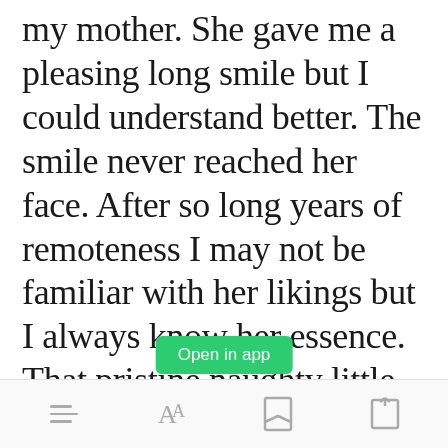my mother. She gave me a pleasing long smile but I could understand better. The smile never reached her face. After so long years of remoteness I may not be familiar with her likings but I always know her essence. That pristine naughty little girl full of mischief was no more present being replaced by a dispirit colleen and the blatant realization clenched my soul to chips.
[Figure (other): Green 'Open in app' button overlay]
Toolbar with list, font, bookmark, and share icons